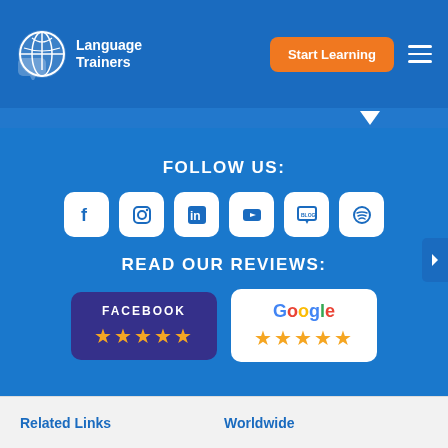[Figure (logo): Language Trainers logo with speech bubble globe icon and 'Start Learning' orange button and hamburger menu]
[Figure (infographic): Blue section with 'FOLLOW US:' heading and six social media icons (Facebook, Instagram, LinkedIn, YouTube, Blog, Spotify), followed by 'READ OUR REVIEWS:' heading with Facebook 5-star and Google 5-star review badges]
Related Links
Worldwide